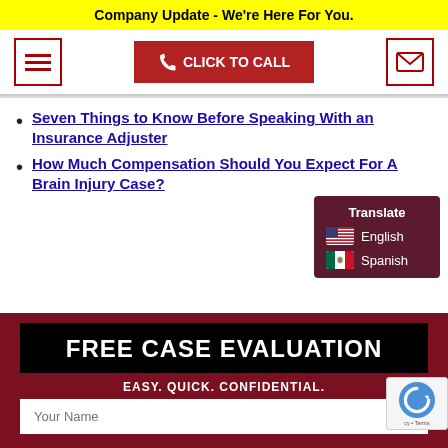Company Update - We're Here For You.
[Figure (screenshot): Navigation bar with hamburger menu icon, red CLICK TO CALL button with phone icon, and envelope icon button]
Seven Things to Know Before Speaking With an Insurance Adjuster
How Much Compensation Should You Expect For A Brain Injury Case?
[Figure (infographic): Translate widget showing English and Spanish language options with flags]
[Figure (screenshot): Free Case Evaluation form section with black banner title, EASY. QUICK. CONFIDENTIAL. subtitle, and Your Name input field over dark red background]